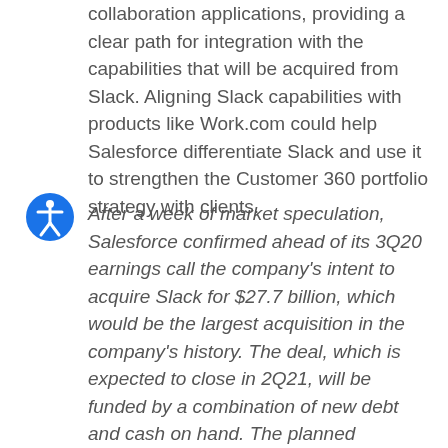collaboration applications, providing a clear path for integration with the capabilities that will be acquired from Slack. Aligning Slack capabilities with products like Work.com could help Salesforce differentiate Slack and use it to strengthen the Customer 360 portfolio strategy with clients.
After a week of market speculation, Salesforce confirmed ahead of its 3Q20 earnings call the company's intent to acquire Slack for $27.7 billion, which would be the largest acquisition in the company's history. The deal, which is expected to close in 2Q21, will be funded by a combination of new debt and cash on hand. The planned